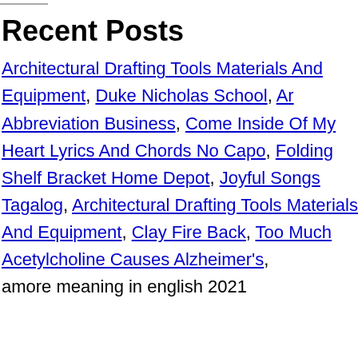Recent Posts
Architectural Drafting Tools Materials And Equipment, Duke Nicholas School, Ar Abbreviation Business, Come Inside Of My Heart Lyrics And Chords No Capo, Folding Shelf Bracket Home Depot, Joyful Songs Tagalog, Architectural Drafting Tools Materials And Equipment, Clay Fire Back, Too Much Acetylcholine Causes Alzheimer's, amore meaning in english 2021